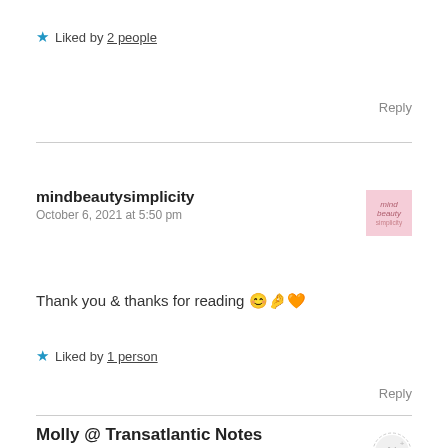★ Liked by 2 people
Reply
mindbeautysimplicity
October 6, 2021 at 5:50 pm
Thank you & thanks for reading 😊👆🧡
★ Liked by 1 person
Reply
Molly @ Transatlantic Notes
October 6, 2021 at 4:55 pm